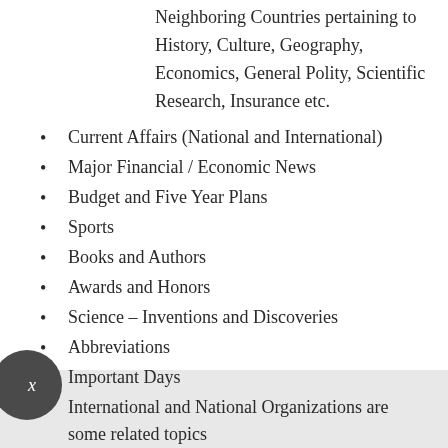Neighboring Countries pertaining to History, Culture, Geography, Economics, General Polity, Scientific Research, Insurance etc.
Current Affairs (National and International)
Major Financial / Economic News
Budget and Five Year Plans
Sports
Books and Authors
Awards and Honors
Science – Inventions and Discoveries
Abbreviations
Important Days
International and National Organizations are some related topics